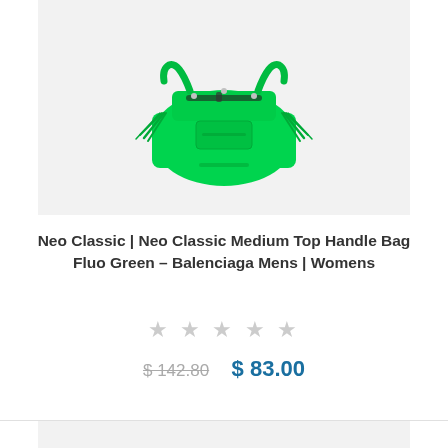[Figure (photo): Green Balenciaga Neo Classic Medium Top Handle Bag shown from front, bright fluo green leather with tassel details and silver hardware, on light gray background]
Neo Classic | Neo Classic Medium Top Handle Bag Fluo Green – Balenciaga Mens | Womens
★ ★ ★ ★ ★ (empty star rating)
$ 142.80   $ 83.00
[Figure (photo): Partial view of a second product card with light gray image placeholder at the bottom of the page]